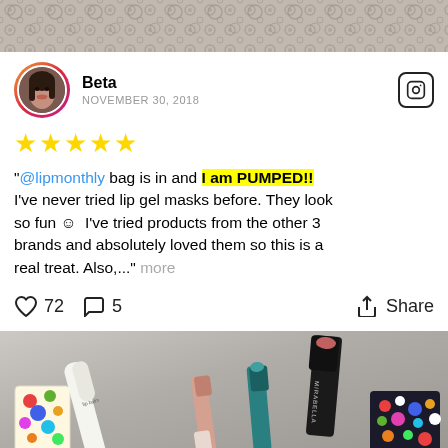[Figure (photo): Top lace/fabric pattern photo strip]
Beta
NOVEMBER 30, 2018
★★★★★
"@lipmonthly bag is in and I am PUMPED!! I've never tried lip gel masks before. They look so fun 😊  I've tried products from the other 3 brands and absolutely loved them so this is a real treat. Also,..." more
♡ 72   💬 5   ➦ Share
[Figure (photo): Bottom photo showing lip products including lipsticks, a Mirabella product, and colorful polka dot packaging on gray background]